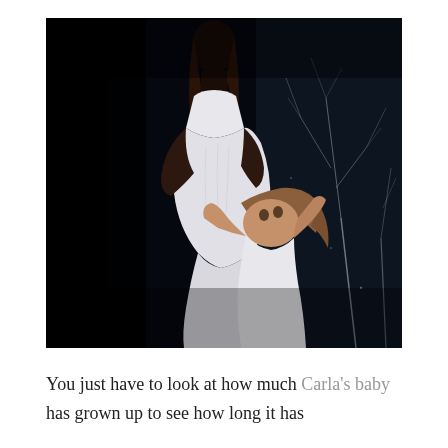[Figure (photo): A dark, moody maternity photograph showing a pregnant woman in a white dress standing, with a young girl kneeling beside her hugging the pregnant belly and looking up. Background has a dark painted scene with bare tree branches.]
You just have to look at how much Carla's baby has grown up to see how long it has